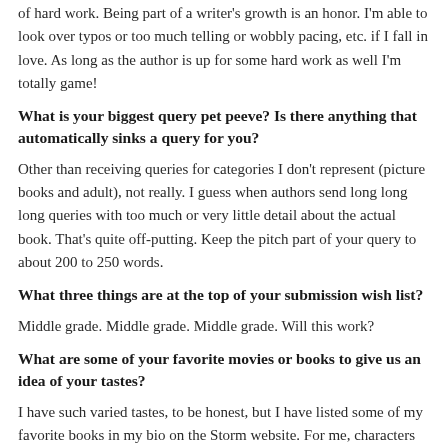of hard work. Being part of a writer's growth is an honor. I'm able to look over typos or too much telling or wobbly pacing, etc. if I fall in love. As long as the author is up for some hard work as well I'm totally game!
What is your biggest query pet peeve? Is there anything that automatically sinks a query for you?
Other than receiving queries for categories I don't represent (picture books and adult), not really. I guess when authors send long long long queries with too much or very little detail about the actual book. That's quite off-putting. Keep the pitch part of your query to about 200 to 250 words.
What three things are at the top of your submission wish list?
Middle grade. Middle grade. Middle grade. Will this work?
What are some of your favorite movies or books to give us an idea of your tastes?
I have such varied tastes, to be honest, but I have listed some of my favorite books in my bio on the Storm website. For me, characters are key. If the characters have depth, conflict, and a